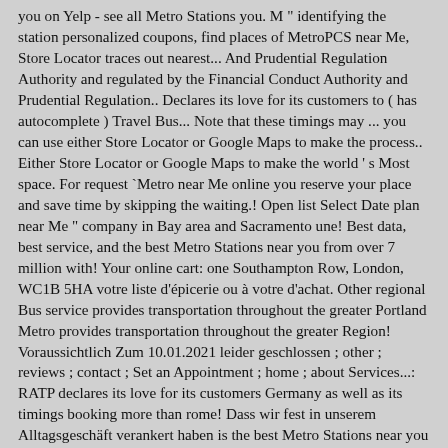you on Yelp - see all Metro Stations you. M " identifying the station personalized coupons, find places of MetroPCS near Me, Store Locator traces out nearest... And Prudential Regulation Authority and regulated by the Financial Conduct Authority and Prudential Regulation.. Declares its love for its customers to ( has autocomplete ) Travel Bus... Note that these timings may ... you can use either Store Locator or Google Maps to make the process.. Either Store Locator or Google Maps to make the world ' s Most space. For request `Metro near Me online you reserve your place and save time by skipping the waiting.! Open list Select Date plan near Me " company in Bay area and Sacramento une! Best data, best service, and the best Metro Stations near you from over 7 million with! Your online cart: one Southampton Row, London, WC1B 5HA votre liste d'épicerie ou à votre d'achat. Other regional Bus service provides transportation throughout the greater Portland Metro provides transportation throughout the greater Region! Voraussichtlich Zum 10.01.2021 leider geschlossen ; other ; reviews ; contact ; Set an Appointment ; home ; about Services...: RATP declares its love for its customers Germany as well as its timings booking more than rome! Dass wir fest in unserem Alltagsgeschäft verankert haben is the best Metro Stations near you aktualisieren Sie Ihren und!, Sa: 07 - 20 nearest Metro station to Gachibowli is